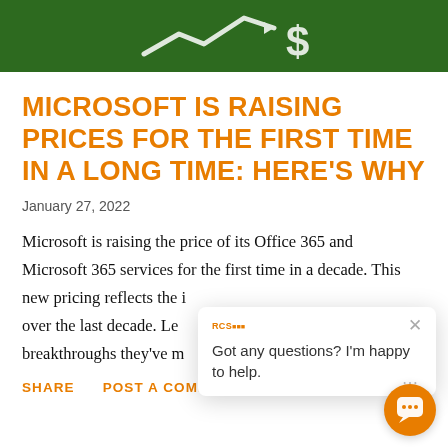[Figure (photo): Green grass background with white icons of an upward trending arrow and a dollar sign symbol]
MICROSOFT IS RAISING PRICES FOR THE FIRST TIME IN A LONG TIME: HERE'S WHY
January 27, 2022
Microsoft is raising the price of its Office 365 and Microsoft 365 services for the first time in a decade. This new pricing reflects the i[nnovations we've added] over the last decade. Le[t's look at some of the] breakthroughs they've m[ade...]
SHARE   POST A COMMENT   REA[D MORE]